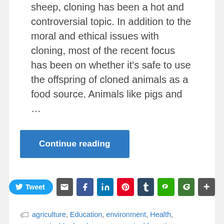sheep, cloning has been a hot and controversial topic. In addition to the moral and ethical issues with cloning, most of the recent focus has been on whether it's safe to use the offspring of cloned animals as a food source. Animals like pigs and …
Continue reading
[Figure (infographic): Social sharing buttons row: Tweet (Twitter), Email, Facebook, LinkedIn, Pinterest, Tumblr, WeChat, Google+, More]
agriculture, Education, environment, Health, sustainable development, sustainable eating
2 comments
Attempts Toward Sustainable Fishing: Part III
JUN 30